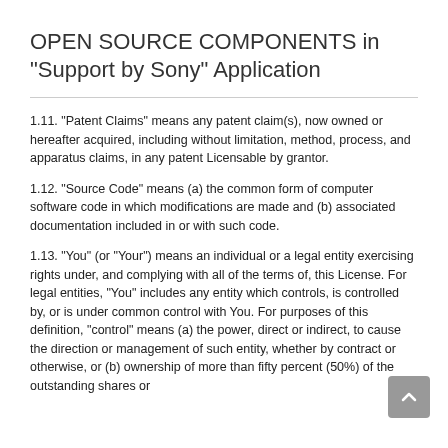OPEN SOURCE COMPONENTS in "Support by Sony" Application
1.11. "Patent Claims" means any patent claim(s), now owned or hereafter acquired, including without limitation, method, process, and apparatus claims, in any patent Licensable by grantor.
1.12. "Source Code" means (a) the common form of computer software code in which modifications are made and (b) associated documentation included in or with such code.
1.13. "You" (or "Your") means an individual or a legal entity exercising rights under, and complying with all of the terms of, this License. For legal entities, "You" includes any entity which controls, is controlled by, or is under common control with You. For purposes of this definition, "control" means (a) the power, direct or indirect, to cause the direction or management of such entity, whether by contract or otherwise, or (b) ownership of more than fifty percent (50%) of the outstanding shares or